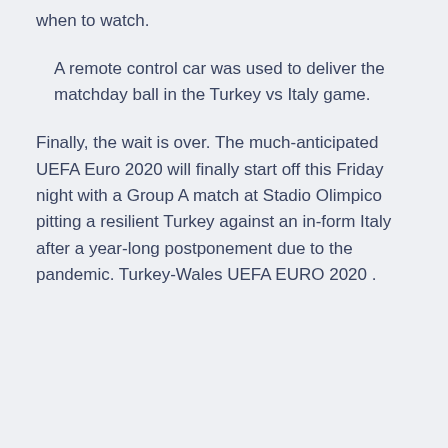when to watch.
A remote control car was used to deliver the matchday ball in the Turkey vs Italy game.
Finally, the wait is over. The much-anticipated UEFA Euro 2020 will finally start off this Friday night with a Group A match at Stadio Olimpico pitting a resilient Turkey against an in-form Italy after a year-long postponement due to the pandemic. Turkey-Wales UEFA EURO 2020 .